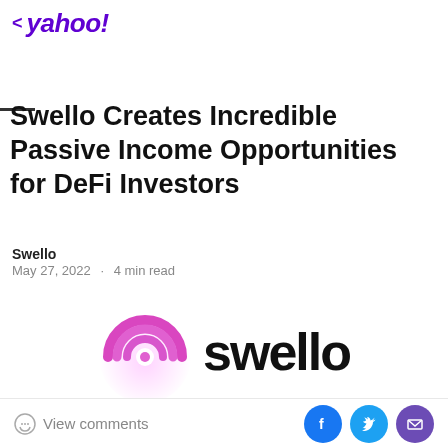< yahoo!
Swello Creates Incredible Passive Income Opportunities for DeFi Investors
Swello
May 27, 2022 · 4 min read
[Figure (logo): Swello logo: pink/magenta spiral circle icon on left, bold black 'swello' text on right]
Swello
Miami FL, May 27, 2022 (GLOBE NEWSWIRE) -- Swello, a DeFi 2.0 High APY...
View comments  [Facebook] [Twitter] [Email]